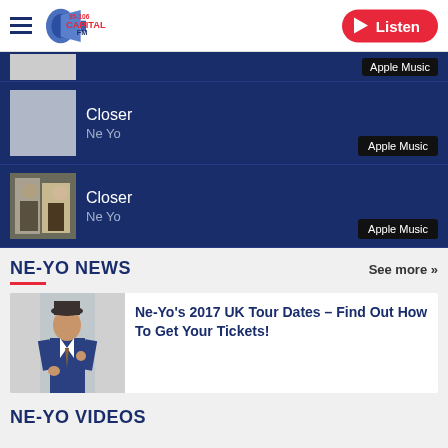[Figure (logo): Capital FM 95-106 radio logo with blue megaphone icon]
Listen
Apple Music
Closer
Ne Yo
Apple Music
Closer
Ne Yo
Apple Music
NE-YO NEWS
See more »
[Figure (photo): Ne-Yo in a blue suit standing against a grey background]
Ne-Yo's 2017 UK Tour Dates – Find Out How To Get Your Tickets!
NE-YO VIDEOS